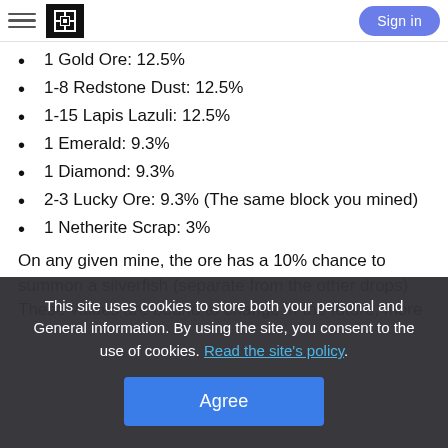Sign in
1 Gold Ore: 12.5%
1-8 Redstone Dust: 12.5%
1-15 Lapis Lazuli: 12.5%
1 Emerald: 9.3%
1 Diamond: 9.3%
2-3 Lucky Ore: 9.3% (The same block you mined)
1 Netherite Scrap: 3%
On any given mine, the ore has a 10% chance to summon a silverfish (separate from the other drops) These values are bound to change in the future, more
This site uses cookies to store both your personal and General information. By using the site, you consent to the use of cookies. Read the site's policy. Agree